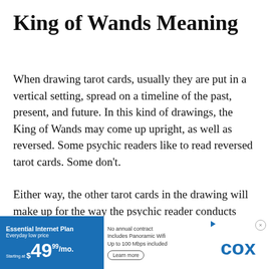King of Wands Meaning
When drawing tarot cards, usually they are put in a vertical setting, spread on a timeline of the past, present, and future. In this kind of drawings, the King of Wands may come up upright, as well as reversed. Some psychic readers like to read reversed tarot cards. Some don't.
Either way, the other tarot cards in the drawing will make up for the way the psychic reader conducts their readings because a Tarot Card de...psychic rea...
[Figure (infographic): Cox Essential Internet Plan advertisement banner. Blue background on left with white text: Essential Internet Plan, Everyday low price, Starting at $49.99/mo. White center section with text: No annual contract, Includes Panoramic Wifi, Up to 100 Mbps included, Learn more button. Right side shows COX logo in blue and a close button.]